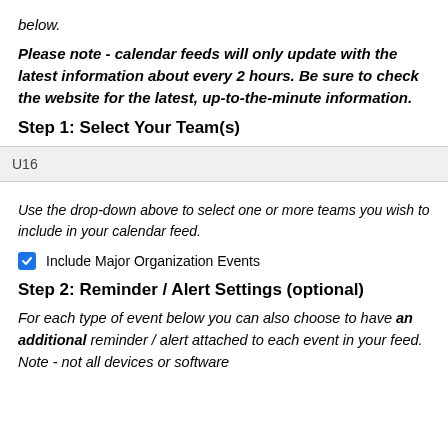below.
Please note - calendar feeds will only update with the latest information about every 2 hours. Be sure to check the website for the latest, up-to-the-minute information.
Step 1: Select Your Team(s)
[Figure (screenshot): Dropdown selector showing 'U16' selected]
Use the drop-down above to select one or more teams you wish to include in your calendar feed.
Include Major Organization Events (checked checkbox)
Step 2: Reminder / Alert Settings (optional)
For each type of event below you can also choose to have an additional reminder / alert attached to each event in your feed. Note - not all devices or software